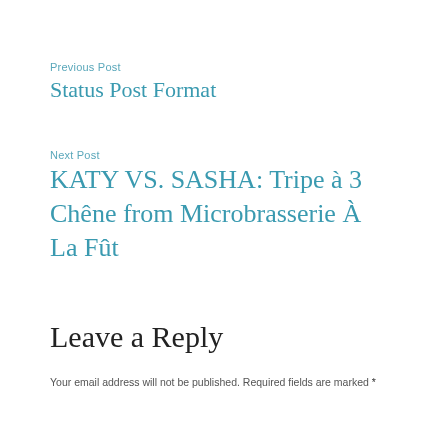Previous Post
Status Post Format
Next Post
KATY VS. SASHA: Tripe à 3 Chêne from Microbrasserie À La Fût
Leave a Reply
Your email address will not be published. Required fields are marked *